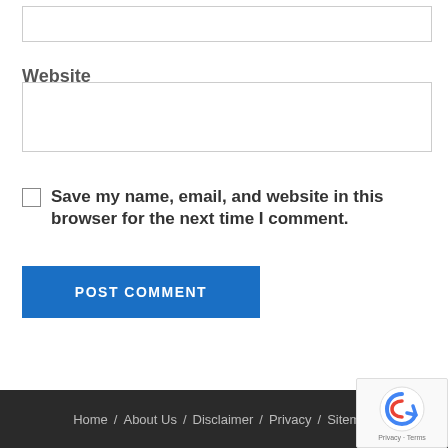[Figure (screenshot): Top input box (partial, cropped at top of page)]
Website
[Figure (screenshot): Website text input box]
Save my name, email, and website in this browser for the next time I comment.
[Figure (screenshot): POST COMMENT button in blue]
This Week's Ads
Home / About Us / Disclaimer / Privacy / Sitemap